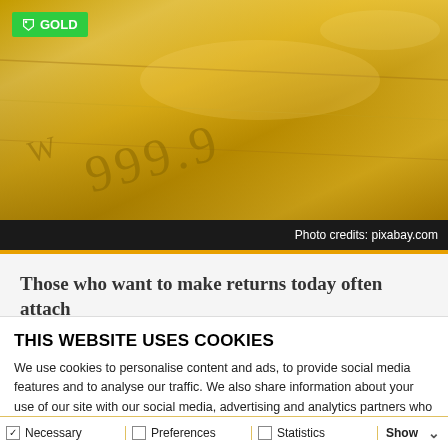[Figure (photo): Close-up photograph of gold bars with engraved markings '999.9', warm golden tones. Green tag with 'GOLD' label in top-left corner.]
Photo credits: pixabay.com
Those who want to make returns today often attach
THIS WEBSITE USES COOKIES
We use cookies to personalise content and ads, to provide social media features and to analyse our traffic. We also share information about your use of our site with our social media, advertising and analytics partners who may combine it with other information that you've provided to them or that they've collected from your use of their services.
Allow all cookies
Allow selection
Use necessary cookies only
Necessary | Preferences | Statistics | Show